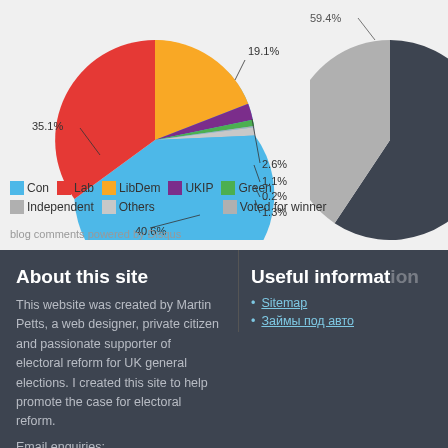[Figure (pie-chart): Vote share by party]
[Figure (pie-chart): Voted for winner]
blog comments powered by Disqus
About this site
This website was created by Martin Petts, a web designer, private citizen and passionate supporter of electoral reform for UK general elections. I created this site to help promote the case for electoral reform.
Email enquiries: hello@voterpower.org.uk
Useful information
Sitemap
Займы под авто